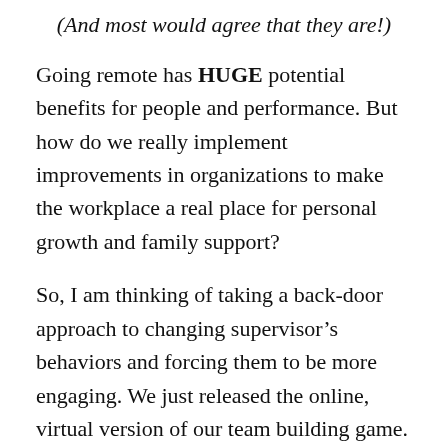(And most would agree that they are!)
Going remote has HUGE potential benefits for people and performance. But how do we really implement improvements in organizations to make the workplace a real place for personal growth and family support?
So, I am thinking of taking a back-door approach to changing supervisor’s behaviors and forcing them to be more engaging. We just released the online, virtual version of our team building game. It is designed to run with as many as 6 teams of 4 people in a pod, just a perfect size if we can get organizations to push their managers to do some actual teambuilding with their people. One or two supervisors could run the game,